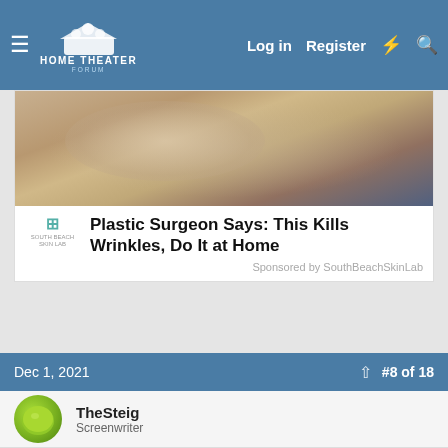HOME THEATER FORUM — Log in  Register
[Figure (photo): Close-up photo of a person's lower face with textured/flaky skin, advertisement image for South Beach Skin Lab wrinkle product]
Plastic Surgeon Says: This Kills Wrinkles, Do It at Home
Sponsored by SouthBeachSkinLab
Dec 1, 2021
#8 of 18
TheSteig
Screenwriter
Glad to see WAC on FB to confirm titles. This was on my wish list post I made the other day 🙂 Now I have to decide whether or now to group the series together or just ABC them li...